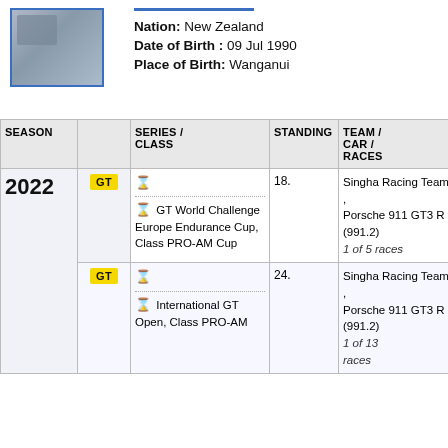[Figure (photo): Small photo of a racing driver or car, with blue border]
Nation: New Zealand
Date of Birth: 09 Jul 1990
Place of Birth: Wanganui
| SEASON |  | SERIES / CLASS | STANDING | TEAM / CAR / RACES |  |
| --- | --- | --- | --- | --- | --- |
| 2022 | GT | ⌛
⌛ GT World Challenge Europe Endurance Cup, Class PRO-AM Cup | 18. | Singha Racing Team , Porsche 911 GT3 R (991.2)
1 of 5 races |  |
|  | GT | ⌛
⌛ International GT Open, Class PRO-AM | 24. | Singha Racing Team , Porsche 911 GT3 R (991.2)
1 of 13 races |  |